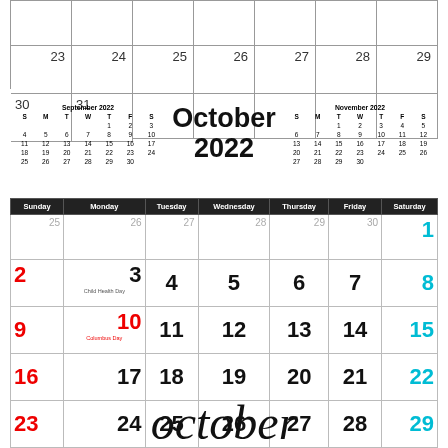| Sun | Mon | Tue | Wed | Thu | Fri | Sat |
| --- | --- | --- | --- | --- | --- | --- |
|  |  |  |  |  |  |  |
| 23 | 24 | 25 | 26 | 27 | 28 | 29 |
| 30 | 31 |  |  |  |  |  |
[Figure (other): Mini September 2022 calendar]
October 2022
[Figure (other): Mini November 2022 calendar]
| Sunday | Monday | Tuesday | Wednesday | Thursday | Friday | Saturday |
| --- | --- | --- | --- | --- | --- | --- |
| 25 | 26 | 27 | 28 | 29 | 30 | 1 |
| 2 | 3
Child Health Day | 4 | 5 | 6 | 7 | 8 |
| 9 | 10
Columbus Day | 11 | 12 | 13 | 14 | 15 |
| 16 | 17 | 18 | 19 | 20 | 21 | 22 |
| 23 | 24 | 25 | 26 | 27 | 28 | 29 |
| 30 | 31
Halloween | 1 | 2 | 3 | 4 | 5 |
[Figure (illustration): Decorative cursive script reading 'october']